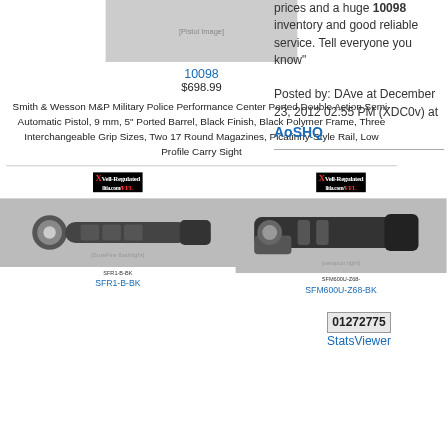[Figure (photo): Smith & Wesson M&P pistol product photo]
10098
$698.99
Smith & Wesson M&P Military Police Performance Center Ported Double Action Semi-Automatic Pistol, 9 mm, 5" Ported Barrel, Black Finish, Black Polymer Frame, Three Interchangeable Grip Sizes, Two 17 Round Magazines, Picatinny-Style Rail, Low Profile Carry Sight
[Figure (logo): Well-Regulated Militia.com/FFL logo left]
[Figure (photo): SureFire handheld flashlight product photo]
SFR1-B-BK
SFR1-B-BK
[Figure (logo): Well-Regulated Militia.com/FFL logo right]
[Figure (photo): SureFire weapon mounted light product photo]
SFM600U-Z68-BK
SFM600U-Z68-
prices and a huge 10098 inventory and good reliable service. Tell everyone you know"
Posted by: DAve at December 23, 2012 02:55 PM (XDC0v) at
AoSHQ
[Figure (other): 01272775 stats counter badge]
StatsViewer